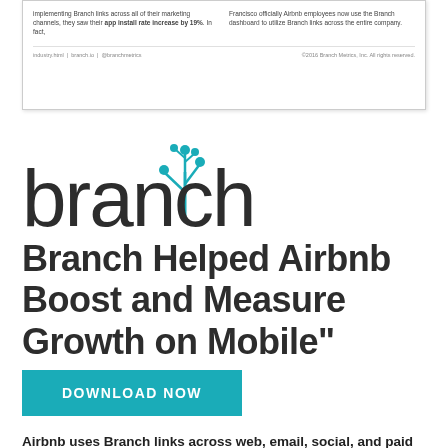[Figure (screenshot): Partial view of a document/case study page showing two columns of small text and a footer with branch.io branding and copyright notice.]
[Figure (logo): Branch logo — lowercase 'branch' wordmark in dark gray with a teal tree/branch icon above the letter h.]
Branch Helped Airbnb Boost and Measure Growth on Mobile"
DOWNLOAD NOW
Airbnb uses Branch links across web, email, social, and paid channels. By doing so, Airbnb was able to increase their app install rate by 19%. Learn more by downloading the case study.
When Airbnb approached Branch in early 2016, they knew their